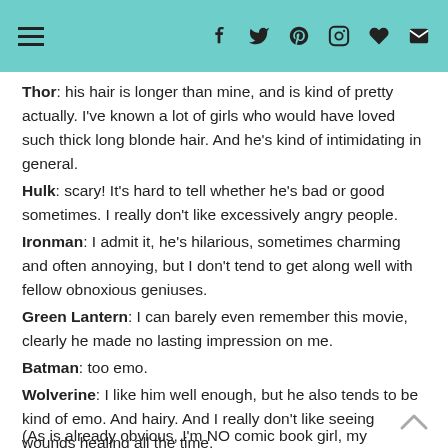Navigation and social media icons header
Thor: his hair is longer than mine, and is kind of pretty actually. I've known a lot of girls who would have loved such thick long blonde hair. And he's kind of intimidating in general.
Hulk: scary! It's hard to tell whether he's bad or good sometimes. I really don't like excessively angry people.
Ironman: I admit it, he's hilarious, sometimes charming and often annoying, but I don't tend to get along well with fellow obnoxious geniuses.
Green Lantern: I can barely even remember this movie, clearly he made no lasting impression on me.
Batman: too emo.
Wolverine: I like him well enough, but he also tends to be kind of emo. And hairy. And I really don't like seeing wounds healing all the time.
(As is already obvious, I'm NO comic book girl, my